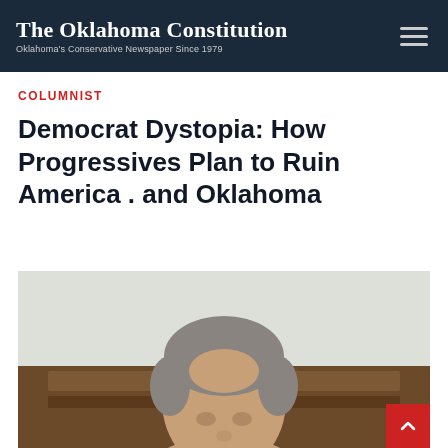The Oklahoma Constitution — Oklahoma's Conservative Newspaper Since 1979
COLUMNIST
Democrat Dystopia: How Progressives Plan to Ruin America . and Oklahoma
[Figure (photo): Headshot photograph of a middle-aged man with gray hair, wearing a suit, seated in front of dark wood furniture background]